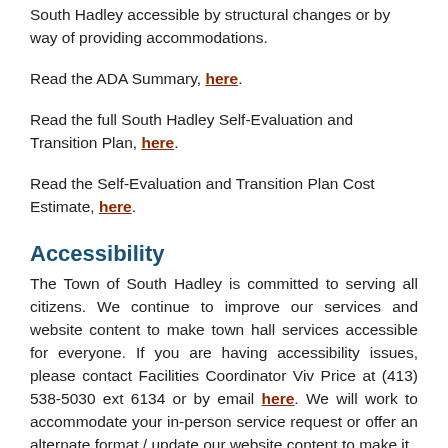South Hadley accessible by structural changes or by way of providing accommodations.
Read the ADA Summary, here.
Read the full South Hadley Self-Evaluation and Transition Plan, here.
Read the Self-Evaluation and Transition Plan Cost Estimate, here.
Accessibility
The Town of South Hadley is committed to serving all citizens. We continue to improve our services and website content to make town hall services accessible for everyone. If you are having accessibility issues, please contact Facilities Coordinator Viv Price at (413) 538-5030 ext 6134 or by email here. We will work to accommodate your in-person service request or offer an alternate format / update our website content to make it